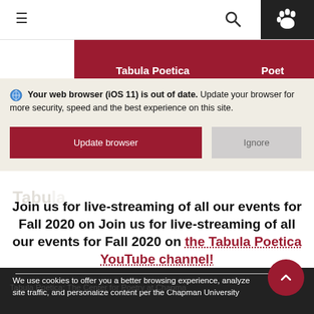≡  🔍  🐾
[Figure (screenshot): Dark red navigation button: Tabula Poetica on YouTube]
[Figure (screenshot): Dark red navigation button: Poetry Series (partially visible)]
🌐 Your web browser (iOS 11) is out of date. Update your browser for more security, speed and the best experience on this site.
Update browser   Ignore
Join us for live-streaming of all our events for Fall 2020 on the Tabula Poetica YouTube channel!
Tabula Poetica: The Center for Poetry at Chapman
We use cookies to offer you a better browsing experience, analyze site traffic, and personalize content per the Chapman University